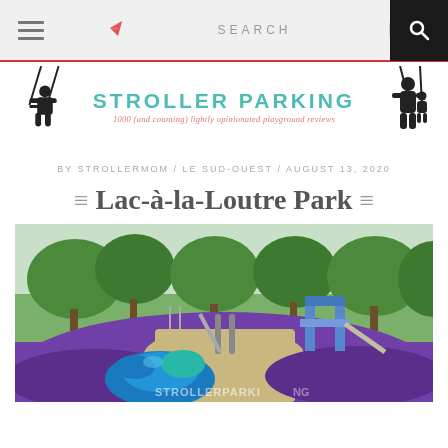Navigation bar with menu icon, share icon, SEARCH label, and search icon
[Figure (logo): Stroller Parking blog logo with two swing silhouettes and teal/red text]
BY STROLLERMOM / LE SUD-OUEST / AUGUST 13, 2020
= Lac-à-la-Loutre Park =
[Figure (photo): Outdoor playground with purple rubberized surface, blue/teal spinning toy in foreground, slides and climbing structures in background, trees overhead. Watermark: STROLLERPARKING]